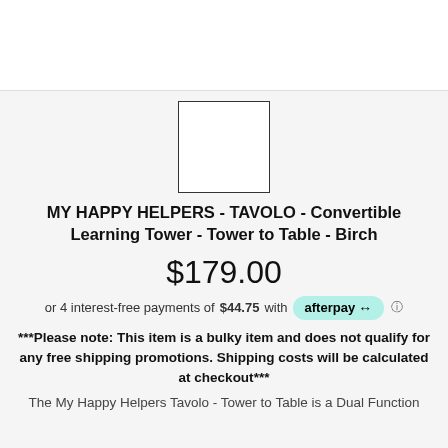[Figure (photo): Large product image area at top (white background, cropped)]
[Figure (photo): Small square thumbnail image of the product (white box with border)]
MY HAPPY HELPERS - TAVOLO - Convertible Learning Tower - Tower to Table - Birch
$179.00
or 4 interest-free payments of $44.75 with afterpay
***Please note: This item is a bulky item and does not qualify for any free shipping promotions. Shipping costs will be calculated at checkout***
The My Happy Helpers Tavolo - Tower to Table is a Dual Function